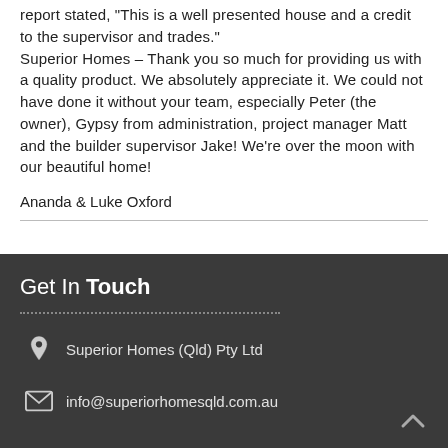report stated, “This is a well presented house and a credit to the supervisor and trades.” Superior Homes – Thank you so much for providing us with a quality product. We absolutely appreciate it. We could not have done it without your team, especially Peter (the owner), Gypsy from administration, project manager Matt and the builder supervisor Jake! We’re over the moon with our beautiful home!
Ananda & Luke Oxford
Get In Touch
Superior Homes (Qld) Pty Ltd
info@superiorhomesqld.com.au